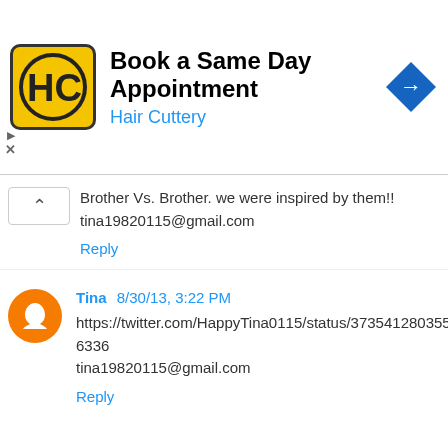[Figure (infographic): Hair Cuttery advertisement banner: logo with HC letters on yellow background, text 'Book a Same Day Appointment' and 'Hair Cuttery' in blue, blue diamond navigation arrow icon on right, play and close controls on left]
Brother Vs. Brother. we were inspired by them!!
tina19820115@gmail.com
Reply
Tina 8/30/13, 3:22 PM
https://twitter.com/HappyTina0115/status/373541280355086336
tina19820115@gmail.com
Reply
clc408 8/31/13, 11:17 AM
I was inspired by vacation at the beach. I used the calm colors of sand and surf.
Reply